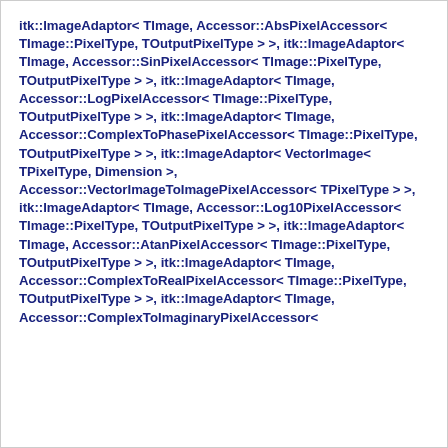itk::ImageAdaptor< TImage, Accessor::AbsPixelAccessor< TImage::PixelType, TOutputPixelType > >, itk::ImageAdaptor< TImage, Accessor::SinPixelAccessor< TImage::PixelType, TOutputPixelType > >, itk::ImageAdaptor< TImage, Accessor::LogPixelAccessor< TImage::PixelType, TOutputPixelType > >, itk::ImageAdaptor< TImage, Accessor::ComplexToPhasePixelAccessor< TImage::PixelType, TOutputPixelType > >, itk::ImageAdaptor< VectorImage< TPixelType, Dimension >, Accessor::VectorImageToImagePixelAccessor< TPixelType > >, itk::ImageAdaptor< TImage, Accessor::Log10PixelAccessor< TImage::PixelType, TOutputPixelType > >, itk::ImageAdaptor< TImage, Accessor::AtanPixelAccessor< TImage::PixelType, TOutputPixelType > >, itk::ImageAdaptor< TImage, Accessor::ComplexToRealPixelAccessor< TImage::PixelType, TOutputPixelType > >, itk::ImageAdaptor< TImage, Accessor::ComplexToImaginaryPixelAccessor<